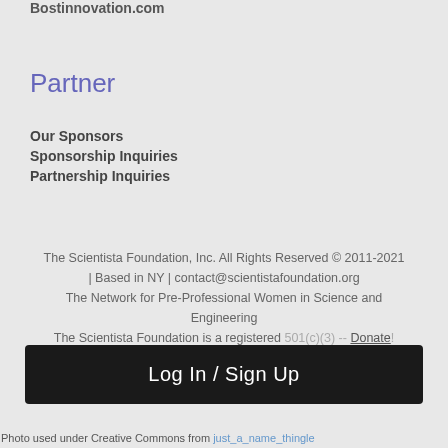Bostinnovation.com
Partner
Our Sponsors
Sponsorship Inquiries
Partnership Inquiries
The Scientista Foundation, Inc. All Rights Reserved © 2011-2021 | Based in NY | contact@scientistafoundation.org The Network for Pre-Professional Women in Science and Engineering The Scientista Foundation is a registered 501(c)(3) -- Donate!
Log In / Sign Up
Photo used under Creative Commons from just_a_name_thingle